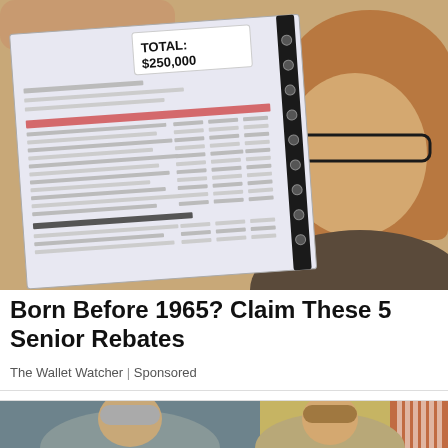[Figure (photo): Woman holding up a large spiral-bound document/binder showing a total of $250,000 on the cover page. The document appears to be a financial report or tax document.]
Born Before 1965? Claim These 5 Senior Rebates
The Wallet Watcher | Sponsored
[Figure (photo): Two people photographed in what appears to be an official government setting (possibly the Oval Office), with American flags visible in the background.]